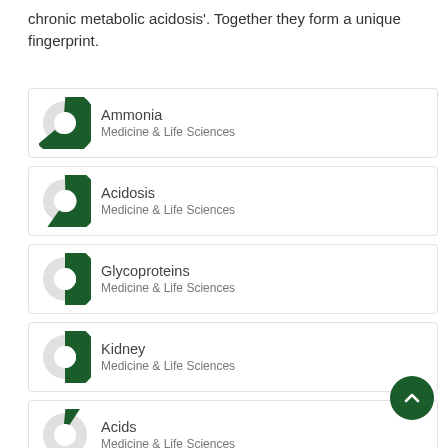chronic metabolic acidosis'. Together they form a unique fingerprint.
Ammonia — Medicine & Life Sciences
Acidosis — Medicine & Life Sciences
Glycoproteins — Medicine & Life Sciences
Kidney — Medicine & Life Sciences
Acids — Medicine & Life Sciences
Proteins — Medicine & Life Sciences